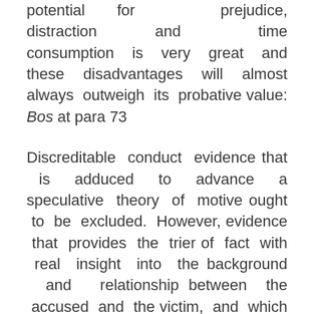potential for prejudice, distraction and time consumption is very great and these disadvantages will almost always outweigh its probative value: Bos at para 73
Discreditable conduct evidence that is adduced to advance a speculative theory of motive ought to be excluded. However, evidence that provides the trier of fact with real insight into the background and relationship between the accused and the victim, and which genuinely helps to establish a bona fide theory of motive is highly probative, and thus more likely